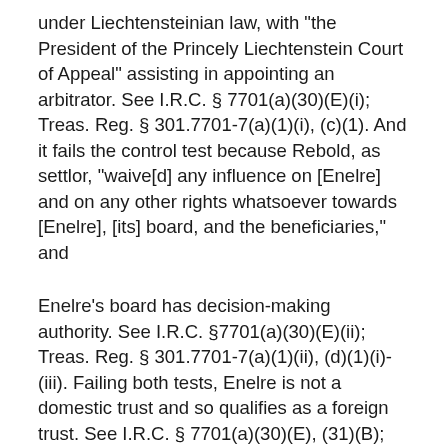under Liechtensteinian law, with "the President of the Princely Liechtenstein Court of Appeal" assisting in appointing an arbitrator. See I.R.C. § 7701(a)(30)(E)(i); Treas. Reg. § 301.7701-7(a)(1)(i), (c)(1). And it fails the control test because Rebold, as settlor, "waive[d] any influence on [Enelre] and on any other rights whatsoever towards [Enelre], [its] board, and the beneficiaries," and
Enelre's board has decision-making authority. See I.R.C. §7701(a)(30)(E)(ii); Treas. Reg. § 301.7701-7(a)(1)(ii), (d)(1)(i)-(iii). Failing both tests, Enelre is not a domestic trust and so qualifies as a foreign trust. See I.R.C. § 7701(a)(30)(E), (31)(B); Treas. Reg. § 301.7701-7(a)(1)-(2); see also Kaplan v. Comm'r, 107 T.C.M. (CCH) 1226, 2014 WL 988465, at *7 (Mar. 13, 2014) (holding trusts